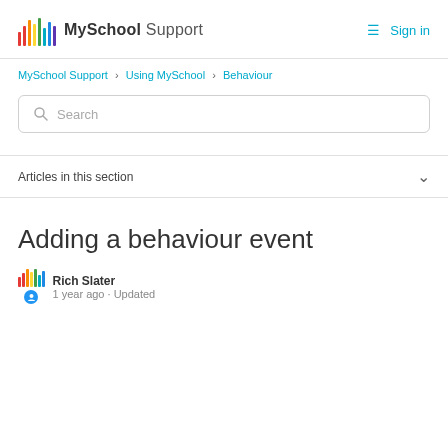MySchool Support  Sign in
MySchool Support > Using MySchool > Behaviour
Search
Articles in this section
Adding a behaviour event
Rich Slater
1 year ago · Updated